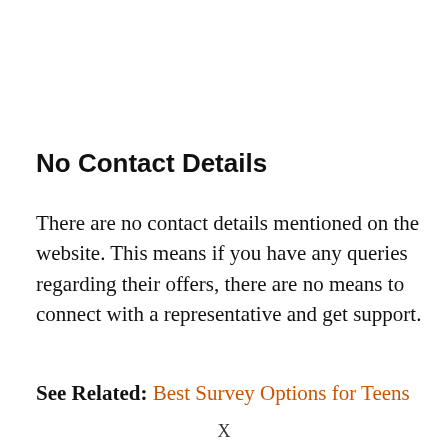No Contact Details
There are no contact details mentioned on the website. This means if you have any queries regarding their offers, there are no means to connect with a representative and get support.
See Related: Best Survey Options for Teens
X